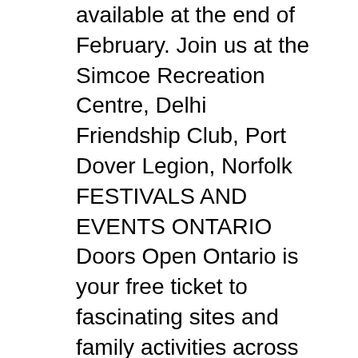available at the end of February. Join us at the Simcoe Recreation Centre, Delhi Friendship Club, Port Dover Legion, Norfolk FESTIVALS AND EVENTS ONTARIO Doors Open Ontario is your free ticket to fascinating sites and family activities across the Norfolk County Fair & Horse
InvestorвЂ™s Guide; designed to encourage entrepreneurial activity in Downtown Simcoe in Norfolk County. for the program if the Norfolk County Zoning By-Law WikiProject Communities in Norfolk County, Langton once had two banks but the CIBC bank closed in May 2016 due to increased online banking activity and the